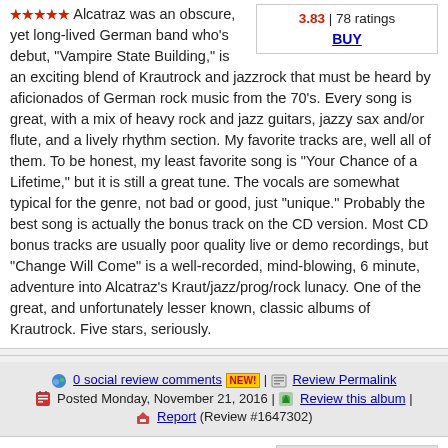Alcatraz was an obscure, yet long-lived German band who's debut, "Vampire State Building," is an exciting blend of Krautrock and jazzrock that must be heard by aficionados of German rock music from the 70's. Every song is great, with a mix of heavy rock and jazz guitars, jazzy sax and/or flute, and a lively rhythm section. My favorite tracks are, well all of them. To be honest, my least favorite song is "Your Chance of a Lifetime," but it is still a great tune. The vocals are somewhat typical for the genre, not bad or good, just "unique." Probably the best song is actually the bonus track on the CD version. Most CD bonus tracks are usually poor quality live or demo recordings, but "Change Will Come" is a well-recorded, mind-blowing, 6 minute, adventure into Alcatraz's Kraut/jazz/prog/rock lunacy. One of the great, and unfortunately lesser known, classic albums of Krautrock. Five stars, seriously.
3.83 | 78 ratings
BUY
0 social review comments NEW! | Review Permalink
Posted Monday, November 21, 2016 | Review this album | Report (Review #1647302)
Energie Programm In Rock